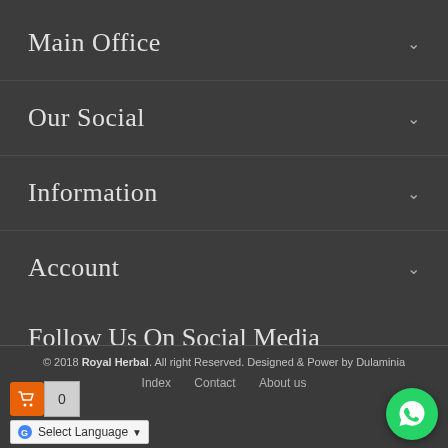Main Office
Our Social
Information
Account
Follow Us On Social Media
© 2018 Royal Herbal. All right Reserved. Designed & Power by Dulaminia
Index   Contact   About us